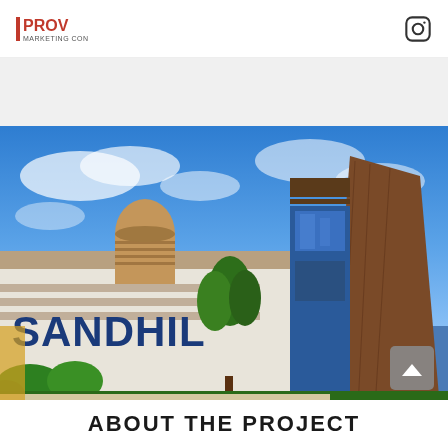PROV Marketing Consultants — Instagram icon
[Figure (photo): Exterior photograph of Sandhill shopping center building with blue sky backdrop, green trees, circular wooden tower element, modern brown metal cladding, wooden slat sun screens, and large blue glass facade. The word 'SANDHIL' is visible on the white building facade.]
ABOUT THE PROJECT